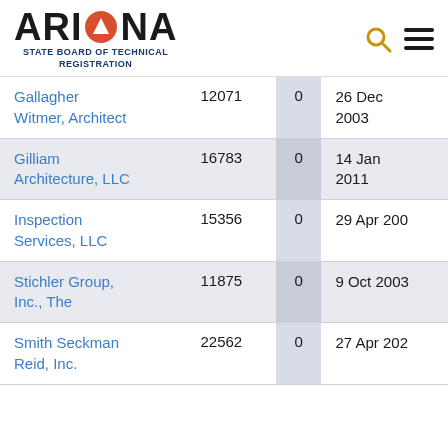ARIZONA STATE BOARD OF TECHNICAL REGISTRATION
| Name | Number |  | Date |
| --- | --- | --- | --- |
| Gallagher Witmer, Architect | 12071 | 0 | 26 Dec 2003 |
| Gilliam Architecture, LLC | 16783 | 0 | 14 Jan 2011 |
| Inspection Services, LLC | 15356 | 0 | 29 Apr 200... |
| Stichler Group, Inc., The | 11875 | 0 | 9 Oct 2003 |
| Smith Seckman Reid, Inc. | 22562 | 0 | 27 Apr 202... |